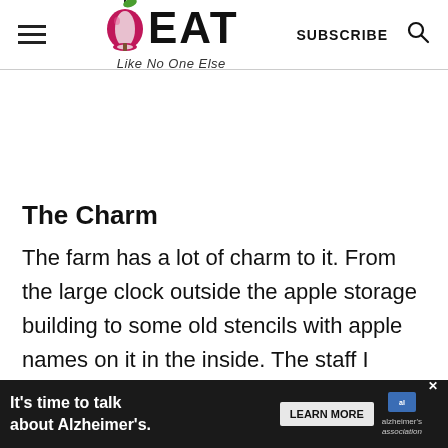EAT Like No One Else — SUBSCRIBE
The Charm
The farm has a lot of charm to it. From the large clock outside the apple storage building to some old stencils with apple names on it in the inside. The staff I encountered were all very helpful and friendly and would likely be
[Figure (infographic): Alzheimer's advertisement banner: 'It's time to talk about Alzheimer's.' with a LEARN MORE button and Alzheimer's Association logo]